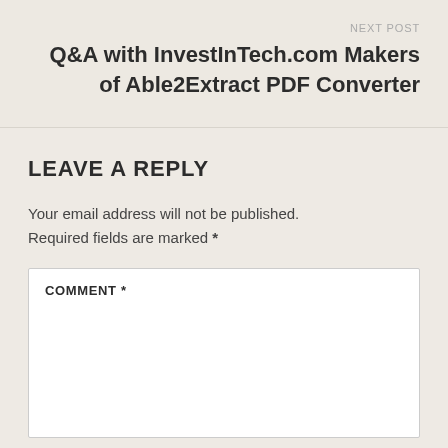NEXT POST
Q&A with InvestInTech.com Makers of Able2Extract PDF Converter
LEAVE A REPLY
Your email address will not be published. Required fields are marked *
COMMENT *